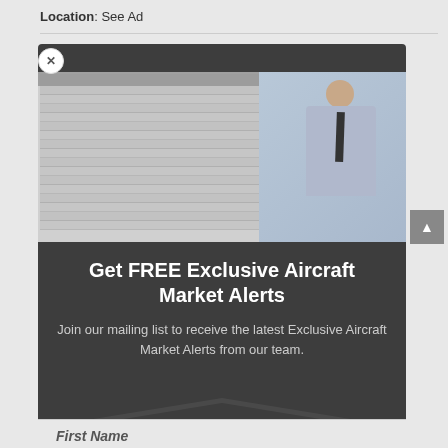Location:  See Ad
[Figure (screenshot): A modal popup overlay on a webpage. Contains a photo of a man in a light blue shirt and dark tie standing next to a spreadsheet displayed on screen. Below the image is promotional text.]
Get FREE Exclusive Aircraft Market Alerts
Join our mailing list to receive the latest Exclusive Aircraft Market Alerts from our team.
First Name